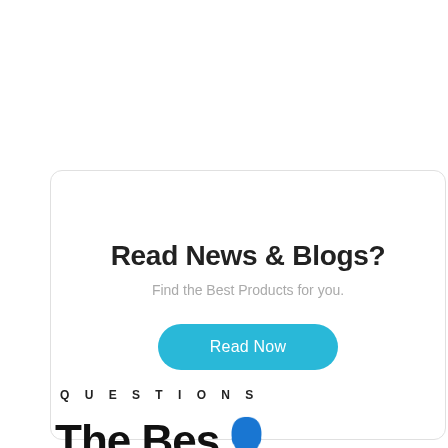Read News & Blogs?
Find the Best Products for you.
Read Now
QUESTIONS
The Bes...